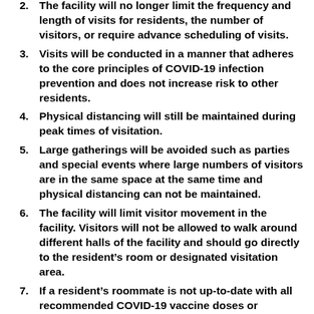2. The facility will no longer limit the frequency and length of visits for residents, the number of visitors, or require advance scheduling of visits.
3. Visits will be conducted in a manner that adheres to the core principles of COVID-19 infection prevention and does not increase risk to other residents.
4. Physical distancing will still be maintained during peak times of visitation.
5. Large gatherings will be avoided such as parties and special events where large numbers of visitors are in the same space at the same time and physical distancing can not be maintained.
6. The facility will limit visitor movement in the facility. Visitors will not be allowed to walk around different halls of the facility and should go directly to the resident’s room or designated visitation area.
7. If a resident’s roommate is not up-to-date with all recommended COVID-19 vaccine doses or immunocompromised (regardless of vaccination